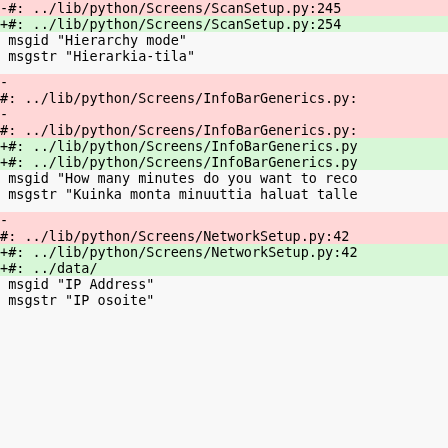-#: ../lib/python/Screens/ScanSetup.py:245
+#: ../lib/python/Screens/ScanSetup.py:254
 msgid "Hierarchy mode"
 msgstr "Hierarkia-tila"
-
#: ../lib/python/Screens/InfoBarGenerics.py:
-
#: ../lib/python/Screens/InfoBarGenerics.py:
+#: ../lib/python/Screens/InfoBarGenerics.py
+#: ../lib/python/Screens/InfoBarGenerics.py
 msgid "How many minutes do you want to reco
 msgstr "Kuinka monta minuuttia haluat talle
-
#: ../lib/python/Screens/NetworkSetup.py:42
+#: ../lib/python/Screens/NetworkSetup.py:42
+#: ../data/
 msgid "IP Address"
 msgstr "IP osoite"